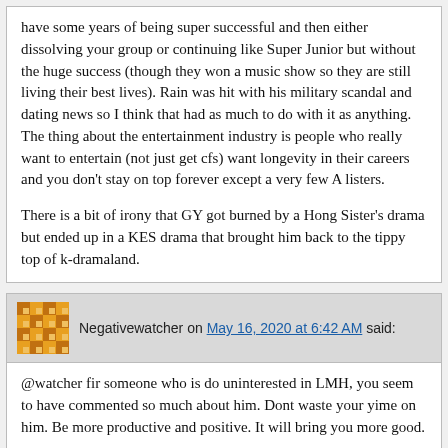have some years of being super successful and then either dissolving your group or continuing like Super Junior but without the huge success (though they won a music show so they are still living their best lives). Rain was hit with his military scandal and dating news so I think that had as much to do with it as anything. The thing about the entertainment industry is people who really want to entertain (not just get cfs) want longevity in their careers and you don't stay on top forever except a very few A listers.
There is a bit of irony that GY got burned by a Hong Sister's drama but ended up in a KES drama that brought him back to the tippy top of k-dramaland.
Negativewatcher on May 16, 2020 at 6:42 AM said:
@watcher fir someone who is do uninterested in LMH, you seem to have commented so much about him. Dont waste your yime on him. Be more productive and positive. It will bring you more good.